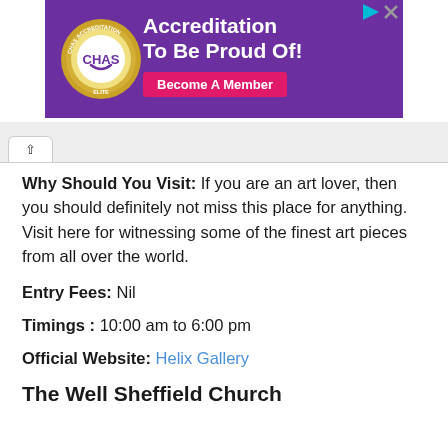[Figure (infographic): CHAS Accreditation advertisement banner with purple background, CHAS gold badge/seal on the left, 'Accreditation To Be Proud Of!' headline in white text, and a pink 'Become A Member' button]
Why Should You Visit: If you are an art lover, then you should definitely not miss this place for anything. Visit here for witnessing some of the finest art pieces from all over the world.
Entry Fees: Nil
Timings : 10:00 am to 6:00 pm
Official Website: Helix Gallery
The Well Sheffield Church